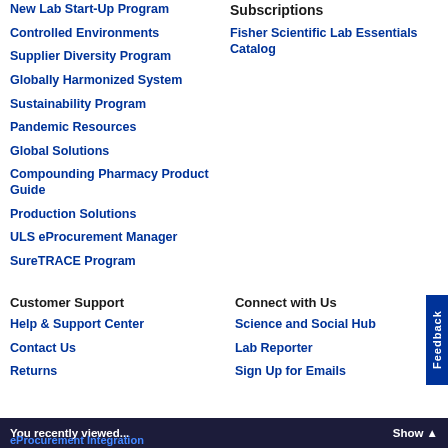New Lab Start-Up Program
Controlled Environments
Supplier Diversity Program
Globally Harmonized System
Sustainability Program
Pandemic Resources
Global Solutions
Compounding Pharmacy Product Guide
Production Solutions
ULS eProcurement Manager
SureTRACE Program
Subscriptions
Fisher Scientific Lab Essentials Catalog
Customer Support
Help & Support Center
Contact Us
Returns
eProcurement Integration
Connect with Us
Science and Social Hub
Lab Reporter
Sign Up for Emails